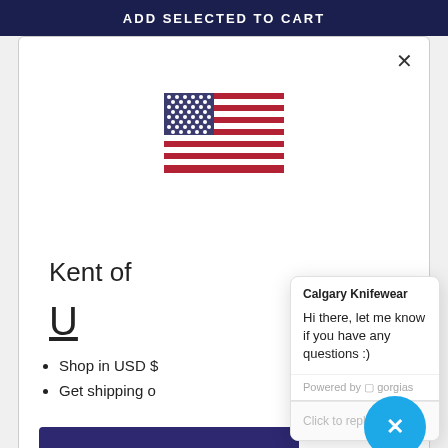ADD SELECTED TO CART
[Figure (illustration): US flag emoji/icon centered in modal]
Kent of
U
Shop in USD $
Get shipping o
Calgary Knifewear
Hi there, let me know if you have any questions :)
Powered by gorgias
Click to reply
Change shipping country
longer too. While most companies don't choose to reinvent the wheel, Castle Forber has, and for good reasons. Castle